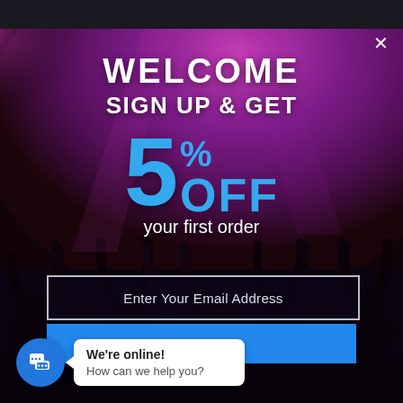[Figure (photo): Concert crowd with purple and magenta stage lighting, silhouettes of people with raised hands]
WELCOME
SIGN UP & GET
5% OFF
your first order
Enter Your Email Address
We're online!
How can we help you?